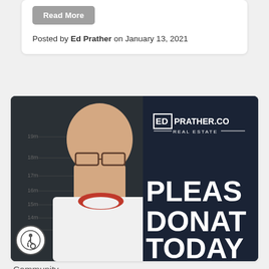Read More
Posted by Ed Prather on January 13, 2021
[Figure (photo): A bald man with glasses wearing a white shirt with red collar, smiling, in front of a dark chalkboard background. The right side shows the EdPrather.co Real Estate logo and large white text reading 'PLEASE DONATE TODAY'.]
Community